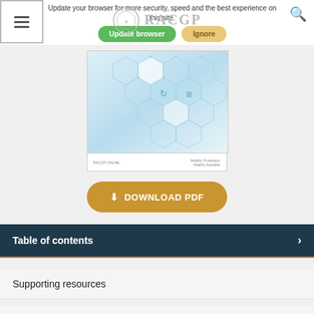Update your browser for more security, speed and the best experience on this site.
[Figure (screenshot): RACGP website screenshot with hamburger menu icon, RACGP logo, and search icon in nav bar]
[Figure (illustration): PDF preview showing hexagonal network diagram with blue and teal hexagons connected by lines, with icons inside some hexagons]
DOWNLOAD PDF
Table of contents
Supporting resources
Acknowledgements
Disclaimer